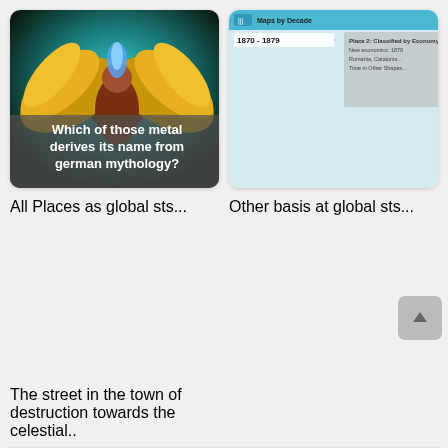[Figure (illustration): Winged mythological figure with golden wings on teal background, with overlay text: 'Which of those metal derives its name from german mythology?']
[Figure (screenshot): Screenshot of a map website showing '1870-1879' date range with a map image, with overlay text: 'The street in the town of destruction towards the celestial..']
[Figure (photo): Cover of Norse mythology dictionary book with decorative textile pattern, with overlay text: 'Norse mythology dictionary']
[Figure (photo): Cover of Neil Gaiman's Norse Mythology book showing Thor's hammer on black background, with overlay text: '"what's to not like?" – norse mythology by neil...']
[Figure (illustration): Technical diagram showing axe shapes labeled 'pe 1', with overlay text: 'Yelos and perun: the']
[Figure (photo): Photo with reddish wood/map texture, with overlay text: 'ARE SEX DOLLS']